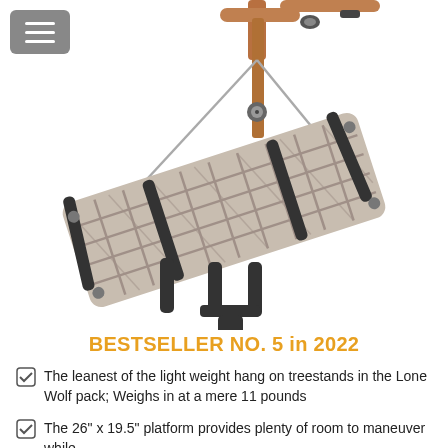[Figure (photo): A hang-on treestand platform with a tan/beige lattice grid surface, black straps and buckles hanging below, suspended by cable and brown straps from a tree mount visible at top.]
BESTSELLER NO. 5 in 2022
The leanest of the light weight hang on treestands in the Lone Wolf pack; Weighs in at a mere 11 pounds
The 26" x 19.5" platform provides plenty of room to maneuver while